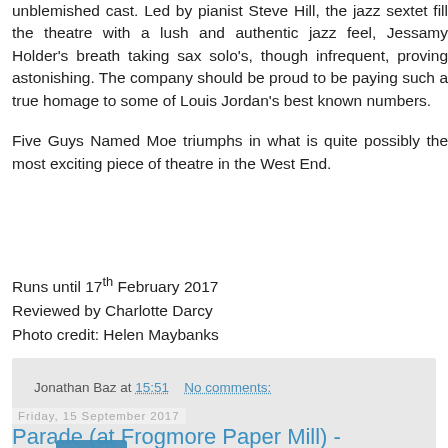unblemished cast. Led by pianist Steve Hill, the jazz sextet fill the theatre with a lush and authentic jazz feel, Jessamy Holder's breath taking sax solo's, though infrequent, proving astonishing. The company should be proud to be paying such a true homage to some of Louis Jordan's best known numbers.
Five Guys Named Moe triumphs in what is quite possibly the most exciting piece of theatre in the West End.
Runs until 17th February 2017
Reviewed by Charlotte Darcy
Photo credit: Helen Maybanks
Jonathan Baz at 15:51   No comments:
Share
Friday, 15 September 2017
Parade (at Frogmore Paper Mill) -